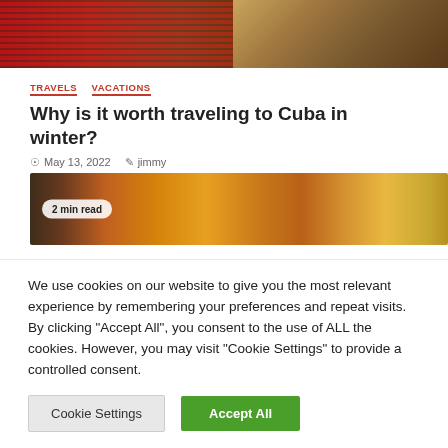[Figure (photo): Top portion of a vintage red car with chrome grille, set against a rocky/dusty background]
TRAVELS   VACATIONS
Why is it worth traveling to Cuba in winter?
May 13, 2022   jimmy
[Figure (photo): Overhead food photo showing various dishes including a shrimp curry, rice, and other foods on a wooden surface. Badge reads '2 min read']
We use cookies on our website to give you the most relevant experience by remembering your preferences and repeat visits. By clicking "Accept All", you consent to the use of ALL the cookies. However, you may visit "Cookie Settings" to provide a controlled consent.